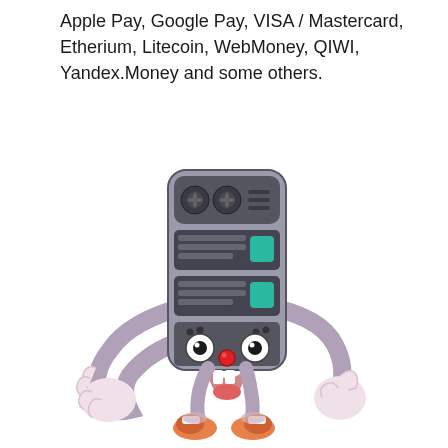Apple Pay, Google Pay, VISA / Mastercard, Etherium, Litecoin, WebMoney, QIWI, Yandex.Money and some others.
[Figure (illustration): Cartoon illustration of a personified payment terminal / computer tower character with arms, legs, eyes, mouth, and sneakers, giving a thumbs-up gesture.]